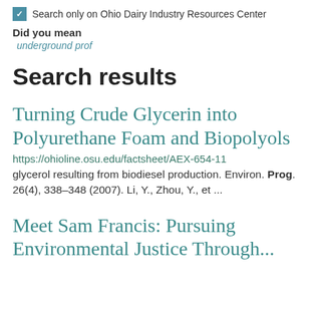Search only on Ohio Dairy Industry Resources Center
Did you mean
underground prof
Search results
Turning Crude Glycerin into Polyurethane Foam and Biopolyols
https://ohioline.osu.edu/factsheet/AEX-654-11
glycerol resulting from biodiesel production. Environ. Prog. 26(4), 338–348 (2007). Li, Y., Zhou, Y., et ...
Meet Sam Francis: Pursuing Environmental Justice Through...